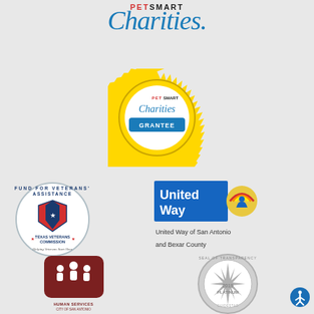[Figure (logo): PetSmart Charities logo with 'PET' in red and 'SMART' in blue above 'Charities.' in blue italic script]
[Figure (logo): PetSmart Charities gold seal/badge with 'GRANTEE' banner]
[Figure (logo): Fund for Veterans' Assistance - Texas Veterans Commission circular seal logo]
[Figure (logo): United Way logo with sun/rainbow graphic and blue rectangle]
United Way of San Antonio and Bexar County
[Figure (logo): Human Services City of San Antonio logo - red/maroon badge with people icons]
[Figure (logo): Seal of Transparency 2019 Platinum circular badge in silver/gray]